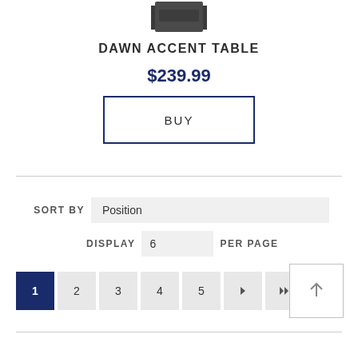[Figure (photo): Product image of Dawn Accent Table, dark/black color, partially visible at top of page]
DAWN ACCENT TABLE
$239.99
BUY
SORT BY  Position
DISPLAY  6  PER PAGE
1  2  3  4  5  ▶  ▶▶